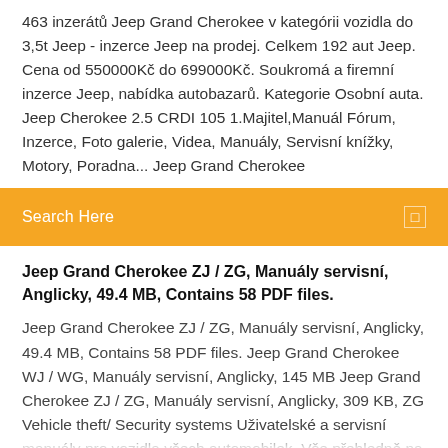463 inzerátů Jeep Grand Cherokee v kategórii vozidla do 3,5t Jeep - inzerce Jeep na prodej. Celkem 192 aut Jeep. Cena od 550000Kč do 699000Kč. Soukromá a firemní inzerce Jeep, nabídka autobazarů. Kategorie Osobní auta. Jeep Cherokee 2.5 CRDI 105 1.Majitel,Manuál Fórum, Inzerce, Foto galerie, Videa, Manuály, Servisní knížky, Motory, Poradna... Jeep Grand Cherokee
Search Here
Jeep Grand Cherokee ZJ / ZG, Manuály servisní, Anglicky, 49.4 MB, Contains 58 PDF files.
Jeep Grand Cherokee ZJ / ZG, Manuály servisní, Anglicky, 49.4 MB, Contains 58 PDF files. Jeep Grand Cherokee WJ / WG, Manuály servisní, Anglicky, 145 MB Jeep Grand Cherokee ZJ / ZG, Manuály servisní, Anglicky, 309 KB, ZG Vehicle theft/ Security systems Uživatelské a servisní manuály pro vozidla všech automobilek. Vše přehledně na jednom místě ve více než 10 jazycích. Od automobilů, přes motorky, nákladňáky, autobusy